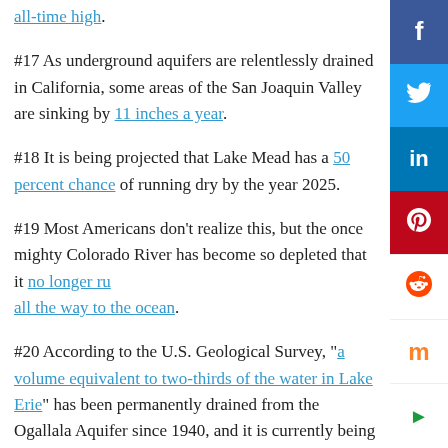all-time high.
#17 As underground aquifers are relentlessly drained in California, some areas of the San Joaquin Valley are sinking by 11 inches a year.
#18 It is being projected that Lake Mead has a 50 percent chance of running dry by the year 2025.
#19 Most Americans don't realize this, but the once mighty Colorado River has become so depleted that it no longer runs all the way to the ocean.
#20 According to the U.S. Geological Survey, "a volume equivalent to two-thirds of the water in Lake Erie" has been permanently drained from the Ogallala Aquifer since 1940, and it is currently being drained at a rate of approximately 800 gallons per minute.
#21 Once upon a time, the Ogallala Aquifer had an average depth of approximately 240 feet, but today the average depth